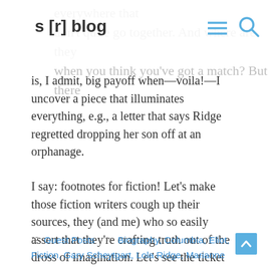s [r] blog
is, I admit, big payoff when—voila!—I uncover a piece that illuminates everything, e.g., a letter that says Ridge regretted dropping her son off at an orphanage.
I say: footnotes for fiction! Let's make those fiction writers cough up their sources, they (and me) who so easily assert that they're crafting truth out of the dross of imagination. Let's see the ticket that cop gave you that made your mother so mad you had to write a short story to figure out she was having an affair with him. You know you have it around somewhere.
Guest Posts   Biography, Columbia, Eliot, Fiction, Gary Scheytgart, Lola Ridge, Marianne